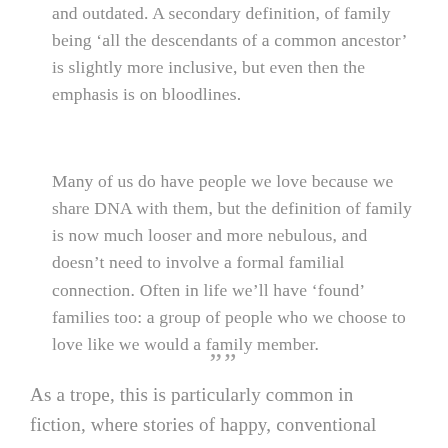and outdated. A secondary definition, of family being 'all the descendants of a common ancestor' is slightly more inclusive, but even then the emphasis is on bloodlines.
Many of us do have people we love because we share DNA with them, but the definition of family is now much looser and more nebulous, and doesn't need to involve a formal familial connection. Often in life we'll have 'found' families too: a group of people who we choose to love like we would a family member.
””
As a trope, this is particularly common in fiction, where stories of happy, conventional